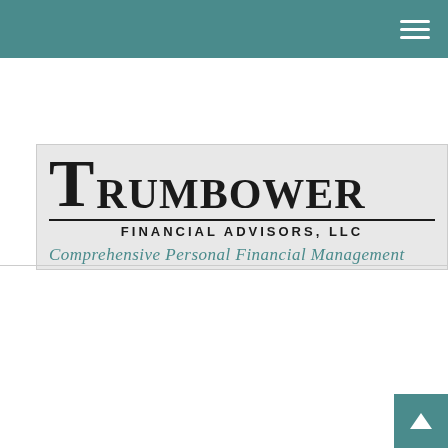Navigation bar with hamburger menu
[Figure (logo): Trumbower Financial Advisors, LLC logo with tagline 'Comprehensive Personal Financial Management']
POTENTIAL INCOME FROM AN IRA
Estimate your monthly and annual income from various IRA types.